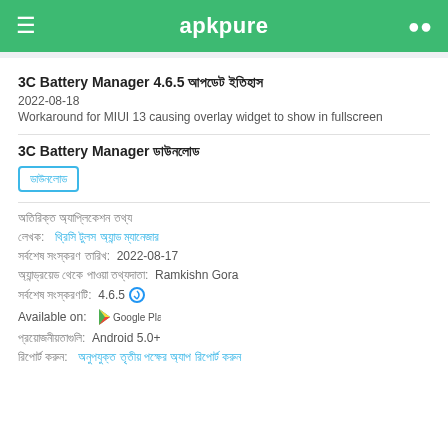apkpure
3C Battery Manager 4.6.5 আপডেট ইতিহাস
2022-08-18
Workaround for MIUI 13 causing overlay widget to show in fullscreen
3C Battery Manager ডাউনলোড
ডাউনলোড
অতিরিক্ত অ্যাপ্লিকেশন তথ্য
লেখক:  থ্রিসি টুলস অ্যান্ড ম্যানেজার
সর্বশেষ সংস্করণ তারিখ:  2022-08-17
অ্যান্ড্রয়েড থেকে পাওয়া তথ্যদাতা:  Ramkishn Gora
সর্বশেষ সংস্করণটি:  4.6.5
Available on:  Google Play
প্রয়োজনীয়তাগুলি:  Android 5.0+
রিপোর্ট করুন:  অনুপযুক্ত তৃতীয় পক্ষের অ্যাপ রিপোর্ট করুন